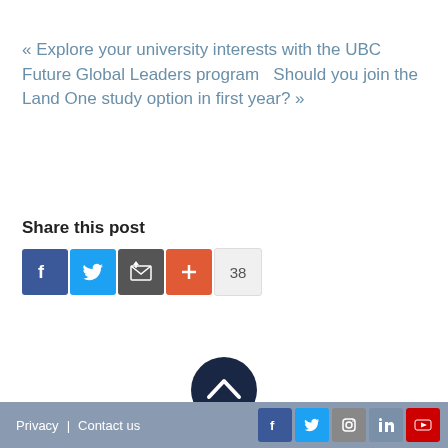« Explore your university interests with the UBC Future Global Leaders program  Should you join the Land One study option in first year? »
Share this post
[Figure (infographic): Social share buttons: Facebook (blue), Twitter (light blue), Email (dark grey), Google+ (orange-red), and share count badge showing 38]
[Figure (infographic): Dark navy circular scroll-to-top button with upward chevron arrow]
Privacy | Contact us  [Facebook] [Twitter] [Instagram] [LinkedIn] [YouTube]